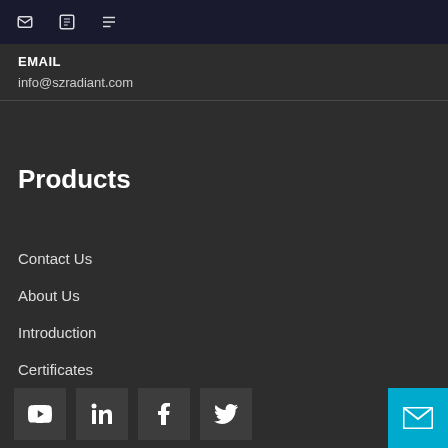EMAIL
info@szradiant.com
Products
Contact Us
About Us
Introduction
Certificates
Exhibition
[Figure (other): Social media icons: YouTube, LinkedIn, Facebook, Twitter, and mail button]